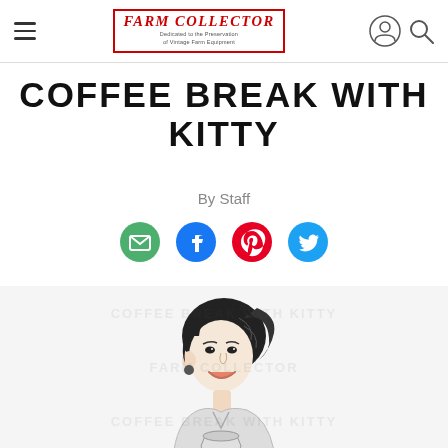Farm Collector — Dedicated to the Preservation of Vintage Farm Equipment
COFFEE BREAK WITH KITTY
By Staff
[Figure (illustration): Retro-style black and white illustration of a smiling woman with wavy hair, depicted from the shoulders up, holding something below frame. Faint watermark text appears in the background.]